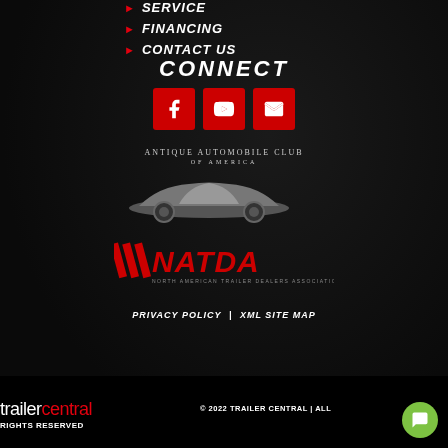SERVICE
FINANCING
CONTACT US
CONNECT
[Figure (illustration): Three red square social media icons: Facebook, YouTube, and Email/envelope]
[Figure (logo): Antique Automobile Club of America logo with classic car silhouette]
[Figure (logo): NATDA logo with red diagonal stripes and text]
PRIVACY POLICY | XML SITE MAP
[Figure (logo): trailercentral logo in white and red]
© 2022 TRAILER CENTRAL | ALL RIGHTS RESERVED